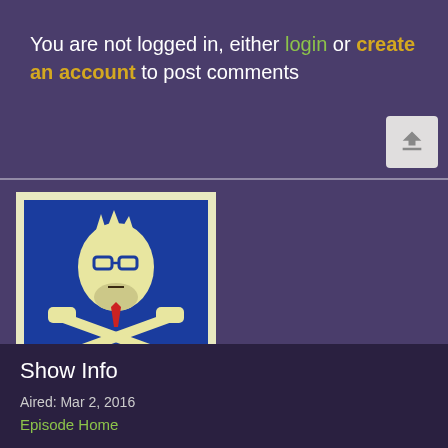You are not logged in, either login or create an account to post comments
[Figure (logo): Judge John Hodgman podcast cover art: stylized cartoon face with glasses, crossed bones/gavels, blue background with cream/yellow illustration, text JUDGE JOHN HODGMAN]
Show Info
Aired: Mar 2, 2016
Episode Home